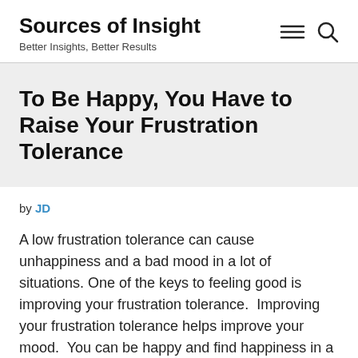Sources of Insight
Better Insights, Better Results
To Be Happy, You Have to Raise Your Frustration Tolerance
by JD
A low frustration tolerance can cause unhappiness and a bad mood in a lot of situations. One of the keys to feeling good is improving your frustration tolerance.  Improving your frustration tolerance helps improve your mood.  You can be happy and find happiness in a lot more situations simply by